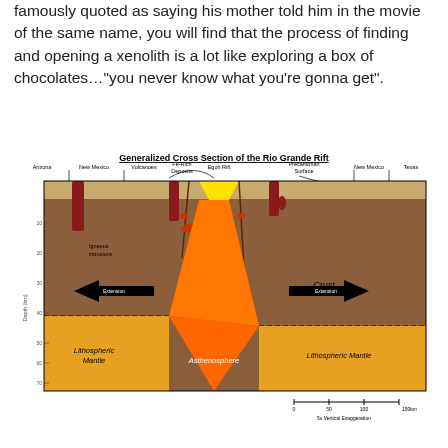famously quoted as saying his mother told him in the movie of the same name, you will find that the process of finding and opening a xenolith is a lot like exploring a box of chocolates…"you never know what you're gonna get".
[Figure (engineering-diagram): Generalized Cross Section of the Rio Grande Rift showing Arizona, New Mexico, Texas regions with volcanoes, Fe-Rich Deposits, Egon Rift, Precambrian Surface labels. Cross section shows igneous intrusions, extension arrows, Moho boundary (dashed line), Crust, Lithospheric Mantle (yellow-orange), and Asthenosphere (orange cone shape). Depth axis in km from 10 to 70. Scale bar at bottom: 0, 50, 100, 150km with 5x Vertical Exaggeration.]